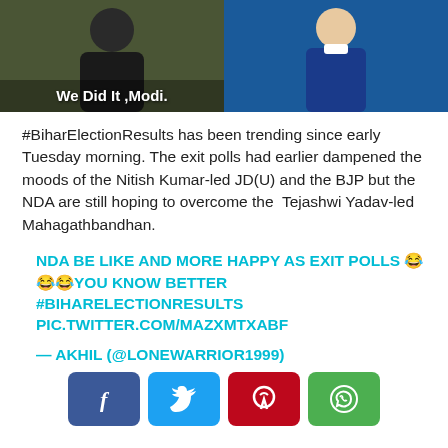[Figure (photo): Two side-by-side photos: left shows a person in dark clothing with caption 'We Did It ,Modi.'; right shows a person in blue clothing.]
#BiharElectionResults has been trending since early Tuesday morning. The exit polls had earlier dampened the moods of the Nitish Kumar-led JD(U) and the BJP but the NDA are still hoping to overcome the Tejashwi Yadav-led Mahagathbandhan.
NDA BE LIKE AND MORE HAPPY AS EXIT POLLS 😂😂😂YOU KNOW BETTER #BIHARELECTIONRESULTS PIC.TWITTER.COM/MAZXMTXABF
— AKHIL (@LONEWARRIOR1999)
[Figure (infographic): Social sharing buttons: Facebook (blue), Twitter (cyan), Pinterest (red), WhatsApp (green)]